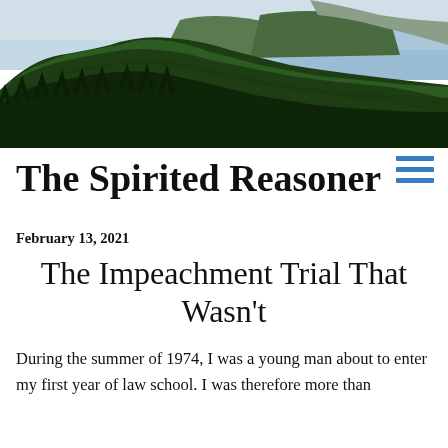[Figure (photo): Scenic coastal landscape photo showing dense green coniferous forest on a hillside/cliff with light blue sky and ocean water visible in the background]
The Spirited Reasoner
February 13, 2021
The Impeachment Trial That Wasn't
During the summer of 1974, I was a young man about to enter my first year of law school. I was therefore more than